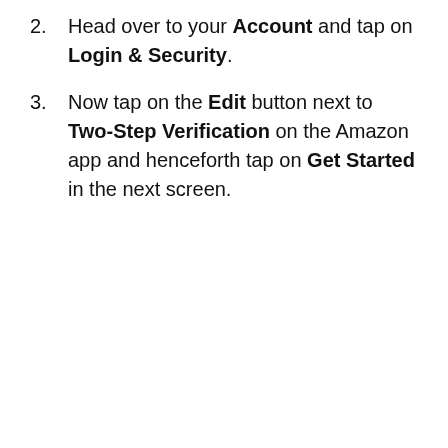2. Head over to your Account and tap on Login & Security.
3. Now tap on the Edit button next to Two-Step Verification on the Amazon app and henceforth tap on Get Started in the next screen.